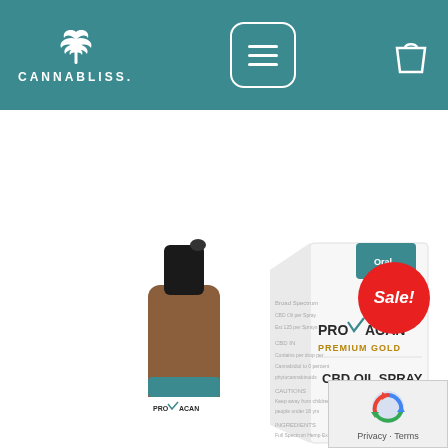[Figure (screenshot): Cannabliss website header with teal background, cannabis leaf logo, hamburger menu button, and shopping bag icon]
Select options
[Figure (photo): Provacan Premium Gold CBD Oil Spray 500mg product photo showing brown glass spray bottle and white product box with teal accents, Sale! badge in red circle]
Privacy · Terms